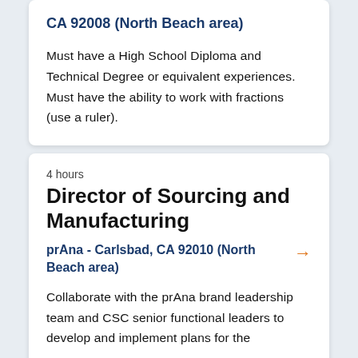CA 92008 (North Beach area)
Must have a High School Diploma and Technical Degree or equivalent experiences. Must have the ability to work with fractions (use a ruler).
4 hours
Director of Sourcing and Manufacturing
prAna - Carlsbad, CA 92010 (North Beach area)
Collaborate with the prAna brand leadership team and CSC senior functional leaders to develop and implement plans for the